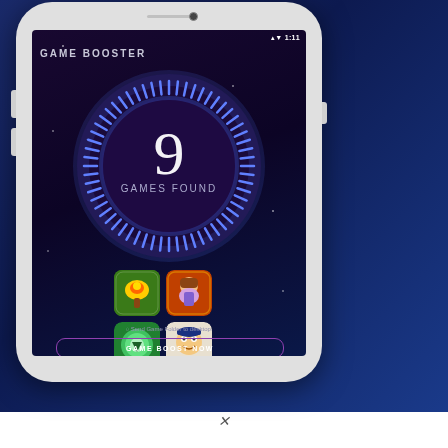[Figure (screenshot): A smartphone displaying a 'Game Booster' app screen. The screen shows a circular gauge with tick marks and glowing blue ring indicating '9 GAMES FOUND' in the center. Below the gauge are 4 game app icons in a 2x2 grid. At the bottom is a 'Send Game Folder to desktop' checkbox option and a 'GAME BOOST NOW' button. The phone has a white/light gray body with a dark blue/purple gradient background. The status bar shows 1:11 time and signal/battery icons.]